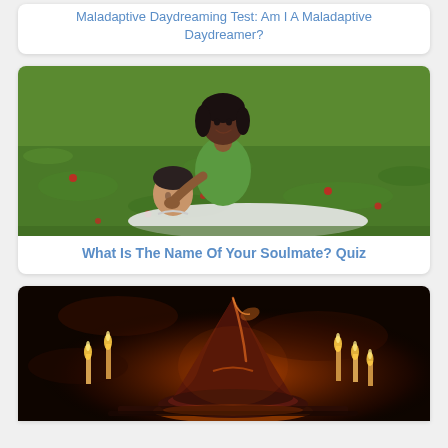Maladaptive Daydreaming Test: Am I A Maladaptive Daydreamer?
[Figure (photo): A couple lying on grass outdoors, woman in green top smiling, man lying with head in her lap]
What Is The Name Of Your Soulmate? Quiz
[Figure (photo): A dark fantasy image of a glowing wizard hat on a table with candles in the background]